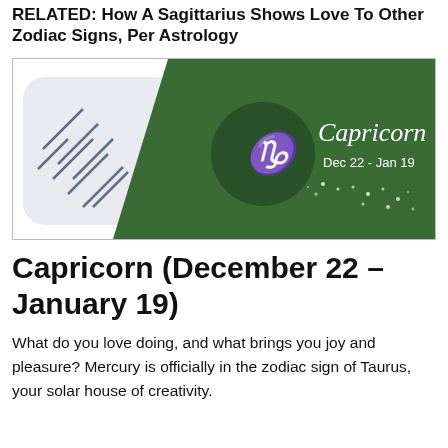RELATED: How A Sagittarius Shows Love To Other Zodiac Signs, Per Astrology
[Figure (illustration): Capricorn zodiac sign banner image with dark green background, showing the Capricorn symbol in a circle and the text 'Capricorn Dec 22 - Jan 19' in white script and sans-serif fonts, with decorative dot patterns.]
Capricorn (December 22 – January 19)
What do you love doing, and what brings you joy and pleasure? Mercury is officially in the zodiac sign of Taurus, your solar house of creativity.